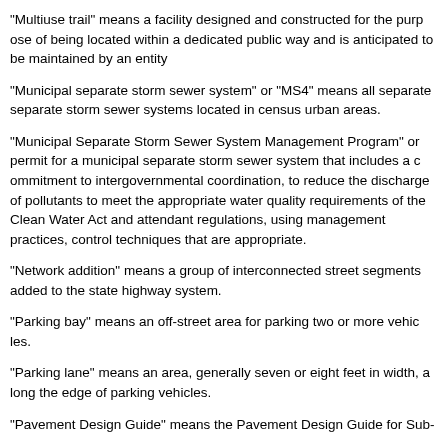"Multiuse trail" means a facility designed and constructed for the purpose of being located within a dedicated public way and is anticipated to be maintained by an entity
"Municipal separate storm sewer system" or "MS4" means all separate storm sewer systems located in census urban areas.
"Municipal Separate Storm Sewer System Management Program" or permit for a municipal separate storm sewer system that includes a commitment to intergovernmental coordination, to reduce the discharge of pollutants to meet the appropriate water quality requirements of the Clean Water Act and attendant regulations, using management practices, control techniques that are appropriate.
"Network addition" means a group of interconnected street segments added to the state highway system.
"Parking bay" means an off-street area for parking two or more vehicles.
"Parking lane" means an area, generally seven or eight feet in width, along the edge of a roadway for parking vehicles.
"Pavement Design Guide" means the Pavement Design Guide for Sub-